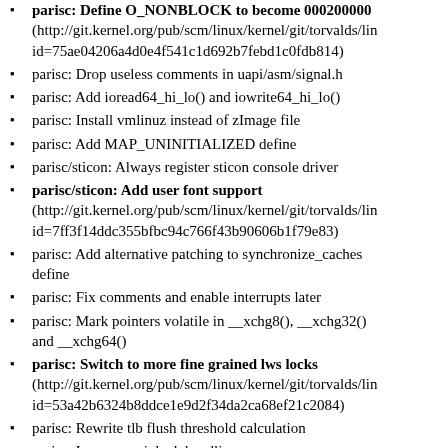parisc: Define O_NONBLOCK to become 000200000 (http://git.kernel.org/pub/scm/linux/kernel/git/torvalds/linux.git/commit/?id=75ae04206a4d0e4f541c1d692b7febd1c0fdb814)
parisc: Drop useless comments in uapi/asm/signal.h
parisc: Add ioread64_hi_lo() and iowrite64_hi_lo()
parisc: Install vmlinuz instead of zImage file
parisc: Add MAP_UNINITIALIZED define
parisc/sticon: Always register sticon console driver
parisc/sticon: Add user font support (http://git.kernel.org/pub/scm/linux/kernel/git/torvalds/linux.git/commit/?id=7ff3f14ddc355bfbc94c766f43b90606b1f79e83)
parisc: Add alternative patching to synchronize_caches define
parisc: Fix comments and enable interrupts later
parisc: Mark pointers volatile in __xchg8(), __xchg32() and __xchg64()
parisc: Switch to more fine grained lws locks (http://git.kernel.org/pub/scm/linux/kernel/git/torvalds/linux.git/commit/?id=53a42b6324b8ddce1e9d2f34da2ca68ef21c2084)
parisc: Rewrite tlb flush threshold calculation
parisc: Improve spinlock handling
parisc: Improve error return codes when setting rtc time
hil/parisc: Disable HIL driver when it gets stuck (http://git.kernel.org/pub/scm/linux/kernel/git/torvalds/linux.git/commit/?id=879bc2d27904354b98ca295b6168718e045c4aa2)
parisc: Add parport_callbrate fix O_NONBLOCK